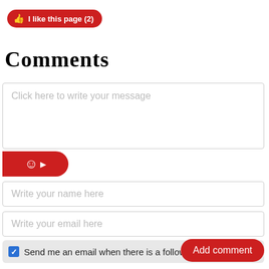[Figure (other): Red rounded button with thumbs-up icon and text 'I like this page (2)']
Comments
Click here to write your message
[Figure (other): Red emoji/smiley picker button with arrow]
Write your name here
Write your email here
Send me an email when there is a follow up
Add comment